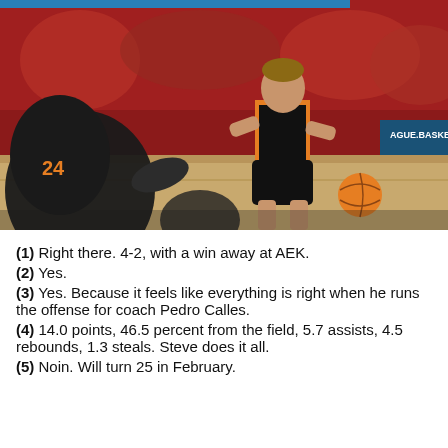[Figure (photo): Basketball game action photo: a player in a black and orange uniform (number 24 visible on opposing player on left) dribbles on a court with a large crowd in red in the background. A banner reading 'AGUE.BASKETBALL' is visible behind the player. An orange basketball is visible near the right side. The main player is tall, wearing all black uniform with orange trim.]
(1) Right there. 4-2, with a win away at AEK.
(2) Yes.
(3) Yes. Because it feels like everything is right when he runs the offense for coach Pedro Calles.
(4) 14.0 points, 46.5 percent from the field, 5.7 assists, 4.5 rebounds, 1.3 steals. Steve does it all.
(5) Noin. Will turn 25 in February.